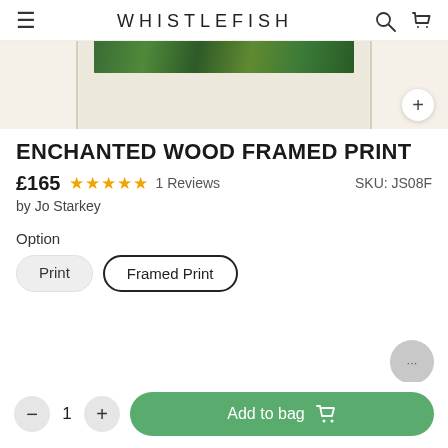WHISTLEFISH
[Figure (photo): Partial product image of a framed print showing a green woodland scene with a cream/white frame, partially cropped at top. A zoom/plus button is visible in the bottom right of the image area.]
ENCHANTED WOOD FRAMED PRINT
£165  ★★★★★  1 Reviews   SKU: JS08F
by Jo Starkey
Option
Print
Framed Print
1
Add to bag